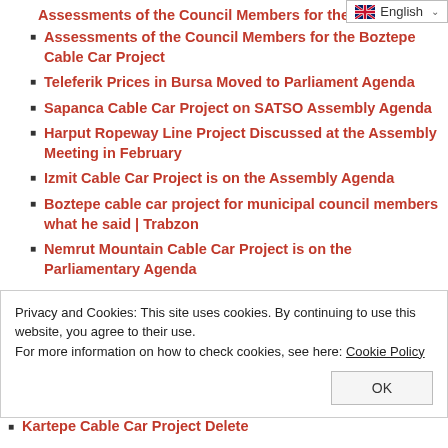Assessments of the Council Members for the Boztepe Cable Car Project
Teleferik Prices in Bursa Moved to Parliament Agenda
Sapanca Cable Car Project on SATSO Assembly Agenda
Harput Ropeway Line Project Discussed at the Assembly Meeting in February
Izmit Cable Car Project is on the Assembly Agenda
Boztepe cable car project for municipal council members what he said | Trabzon
Nemrut Mountain Cable Car Project is on the Parliamentary Agenda
Kartepe Cable Car Project Delete
Privacy and Cookies: This site uses cookies. By continuing to use this website, you agree to their use. For more information on how to check cookies, see here: Cookie Policy